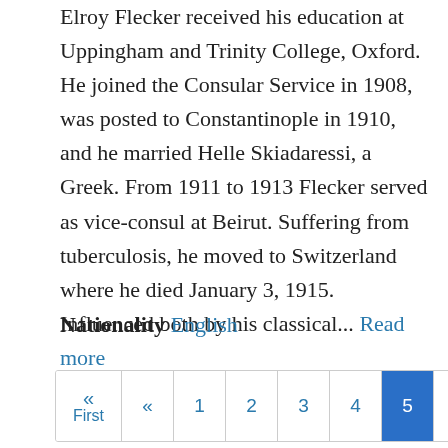Elroy Flecker received his education at Uppingham and Trinity College, Oxford. He joined the Consular Service in 1908, was posted to Constantinople in 1910, and he married Helle Skiadaressi, a Greek. From 1911 to 1913 Flecker served as vice-consul at Beirut. Suffering from tuberculosis, he moved to Switzerland where he died January 3, 1915. Influenced both by his classical... Read more
Nationality English
« «« 1 2 3 4 5 6 7 8 9 First